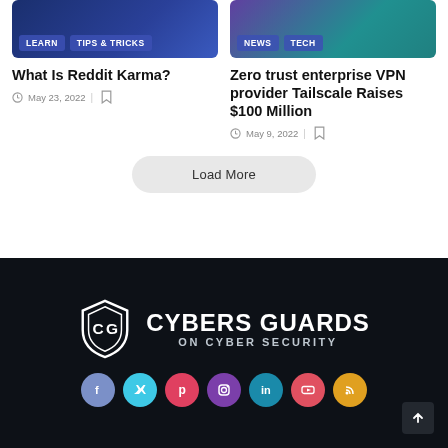[Figure (screenshot): Article thumbnail: dark blue background with LEARN and TIPS & TRICKS tags]
What Is Reddit Karma?
May 23, 2022
[Figure (screenshot): Article thumbnail: teal/purple background with NEWS and TECH tags]
Zero trust enterprise VPN provider Tailscale Raises $100 Million
May 9, 2022
Load More
[Figure (logo): Cybers Guards logo: white shield with CG initials and text CYBERS GUARDS ON CYBER SECURITY on dark background]
Social media icons: Facebook, Twitter, Pinterest, Instagram, LinkedIn, YouTube, RSS